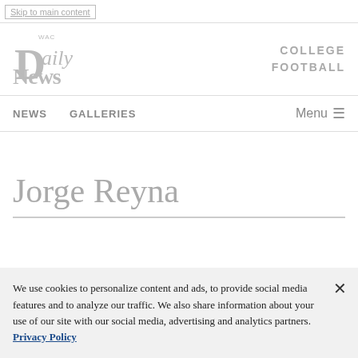Skip to main content
[Figure (logo): WAC Daily News newspaper logo in gray]
COLLEGE FOOTBALL
NEWS   GALLERIES   Menu
Jorge Reyna
We use cookies to personalize content and ads, to provide social media features and to analyze our traffic. We also share information about your use of our site with our social media, advertising and analytics partners.  Privacy Policy